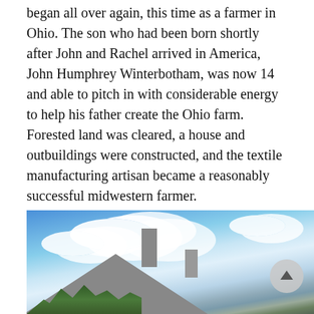began all over again, this time as a farmer in Ohio. The son who had been born shortly after John and Rachel arrived in America, John Humphrey Winterbotham, was now 14 and able to pitch in with considerable energy to help his father create the Ohio farm. Forested land was cleared, a house and outbuildings were constructed, and the textile manufacturing artisan became a reasonably successful midwestern farmer.
[Figure (photo): Photograph of a farmhouse with a grey shingled roof and two chimneys, set against a partly cloudy blue sky. Green trees are visible in the lower left corner.]